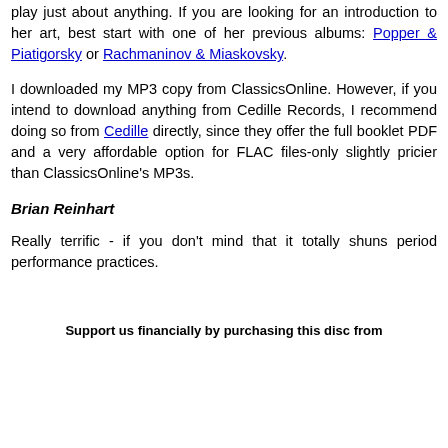play just about anything. If you are looking for an introduction to her art, best start with one of her previous albums: Popper & Piatigorsky or Rachmaninov & Miaskovsky.
I downloaded my MP3 copy from ClassicsOnline. However, if you intend to download anything from Cedille Records, I recommend doing so from Cedille directly, since they offer the full booklet PDF and a very affordable option for FLAC files-only slightly pricier than ClassicsOnline's MP3s.
Brian Reinhart
Really terrific - if you don't mind that it totally shuns period performance practices.
Support us financially by purchasing this disc from